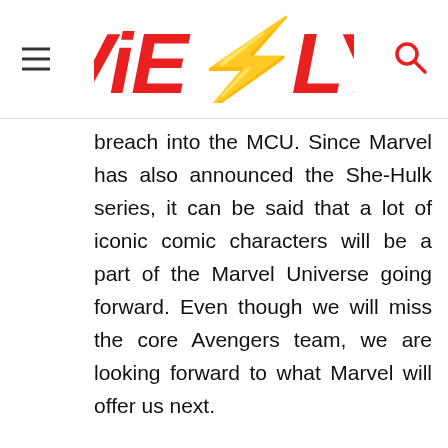ViEBLY
breach into the MCU. Since Marvel has also announced the She-Hulk series, it can be said that a lot of iconic comic characters will be a part of the Marvel Universe going forward. Even though we will miss the core Avengers team, we are looking forward to what Marvel will offer us next.
Also Read | Wanda Vs. Iron
[Figure (other): Advertisement banner for Ashburn restaurant showing logo, open hours 8AM-10PM, address 44110 Ashburn Shopping Plaza..., and navigation arrow icon]